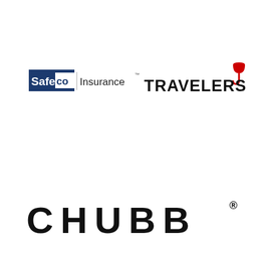[Figure (logo): Safeco Insurance logo: dark navy blue box containing 'Safe' in white bold text with a white sub-box containing 'co' in navy, followed by 'Insurance' text with TM mark in black]
[Figure (logo): Travelers logo: bold black uppercase 'TRAVELERS' text with a red umbrella icon above the letter J at the end]
[Figure (logo): Chubb logo: large bold uppercase 'CHUBB' text with registered trademark symbol in black]